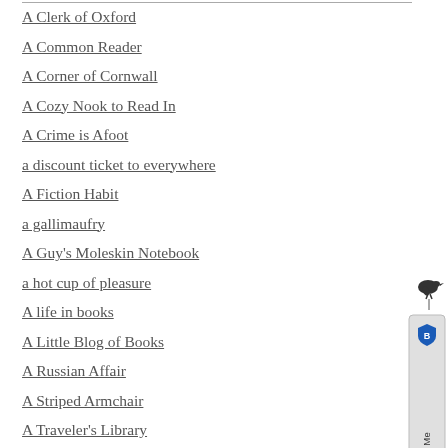A Clerk of Oxford
A Common Reader
A Corner of Cornwall
A Cozy Nook to Read In
A Crime is Afoot
a discount ticket to everywhere
A Fiction Habit
a gallimaufry
A Guy's Moleskin Notebook
a hot cup of pleasure
A life in books
A Little Blog of Books
A Russian Affair
A Striped Armchair
A Traveler's Library
A Work in Progress
A Year of Reading the World
ABC of Reading
[Figure (logo): Twitter Follow Me widget with bird icon and shield badge, rotated vertically]